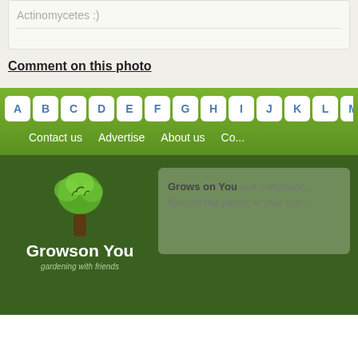Actinomycetes :)
Comment on this photo
A B C D E F G H I J K L M
Contact us   Advertise   About us   Co...
[Figure (logo): Grows on You logo with illustrated tree and text 'Growson You - gardening with friends']
Grows on You is a communit... Record the plants in your gar...